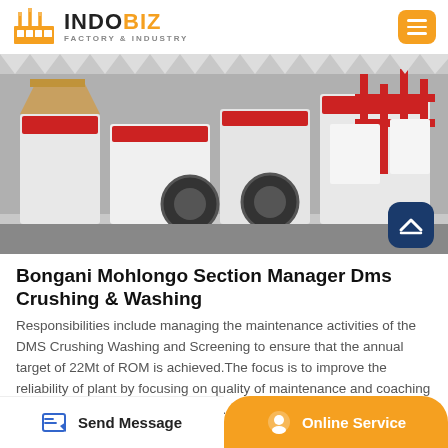INDOBIZ FACTORY & INDUSTRY
[Figure (photo): Industrial crushing and washing machinery — multiple large white and red machines lined up in an outdoor yard]
Bongani Mohlongo Section Manager Dms Crushing & Washing
Responsibilities include managing the maintenance activities of the DMS Crushing Washing and Screening to ensure that the annual target of 22Mt of ROM is achieved.The focus is to improve the reliability of plant by focusing on quality of maintenance and coaching of the team therefore achieving a…
Send Message | Online Service